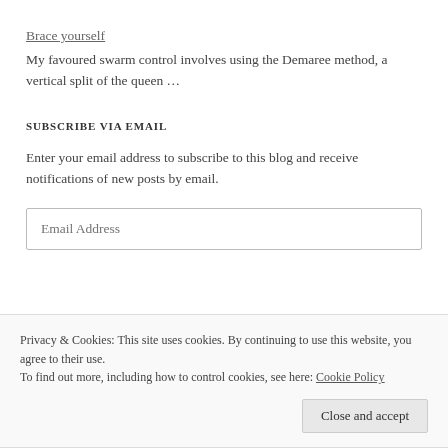Brace yourself
My favoured swarm control involves using the Demaree method, a vertical split of the queen …
SUBSCRIBE VIA EMAIL
Enter your email address to subscribe to this blog and receive notifications of new posts by email.
Email Address
Privacy & Cookies: This site uses cookies. By continuing to use this website, you agree to their use. To find out more, including how to control cookies, see here: Cookie Policy
Close and accept